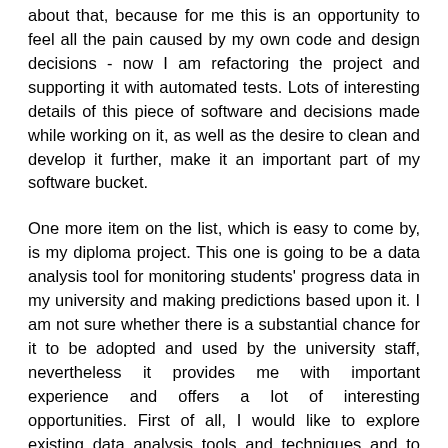about that, because for me this is an opportunity to feel all the pain caused by my own code and design decisions - now I am refactoring the project and supporting it with automated tests. Lots of interesting details of this piece of software and decisions made while working on it, as well as the desire to clean and develop it further, make it an important part of my software bucket.
One more item on the list, which is easy to come by, is my diploma project. This one is going to be a data analysis tool for monitoring students' progress data in my university and making predictions based upon it. I am not sure whether there is a substantial chance for it to be adopted and used by the university staff, nevertheless it provides me with important experience and offers a lot of interesting opportunities. First of all, I would like to explore existing data analysis tools and techniques and to adopt some of these to real data. Besides, while working on the project I have to use an external system, which is aggregating and providing the data consumed by my application. The fact that I have been working with it for a considerable period has taught me to put significant effort into shielding my own creations from the